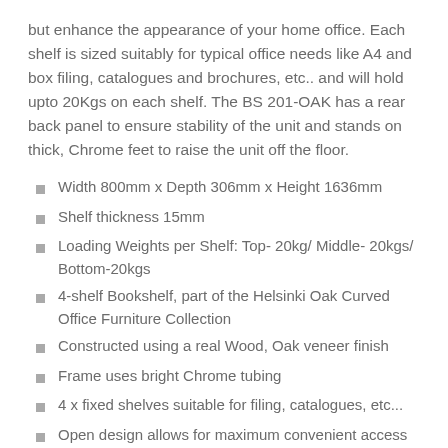but enhance the appearance of your home office. Each shelf is sized suitably for typical office needs like A4 and box filing, catalogues and brochures, etc.. and will hold upto 20Kgs on each shelf. The BS 201-OAK has a rear back panel to ensure stability of the unit and stands on thick, Chrome feet to raise the unit off the floor.
Width 800mm x Depth 306mm x Height 1636mm
Shelf thickness 15mm
Loading Weights per Shelf: Top- 20kg/ Middle- 20kgs/ Bottom-20kgs
4-shelf Bookshelf, part of the Helsinki Oak Curved Office Furniture Collection
Constructed using a real Wood, Oak veneer finish
Frame uses bright Chrome tubing
4 x fixed shelves suitable for filing, catalogues, etc...
Open design allows for maximum convenient access
Thick, Chrome feet raise the unit off the floor
Rear support panel to ensure stability